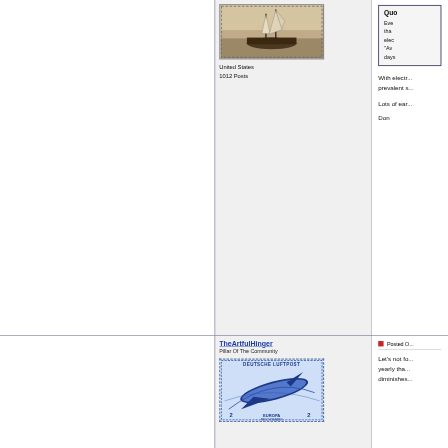[Figure (photo): Black and white stamp image of a sailing ship at sea]
United States
1012 Posts
[Figure (photo): Truncated quote box: 'Quo...' - text beginning with 'Eve', 'tha...', 'elec', '"Av', 'days']
With electr... prevalent s...
Lots of ear...
Don
TheArtfulHinger
Pillar Of The Community
Posted O...
[Figure (photo): Deutsche Luftpost stamp showing an aircraft/zeppelin, blue, labeled EUROPA, 2 Reichsmark]
Let's not fo... yearly tha... diminishes...